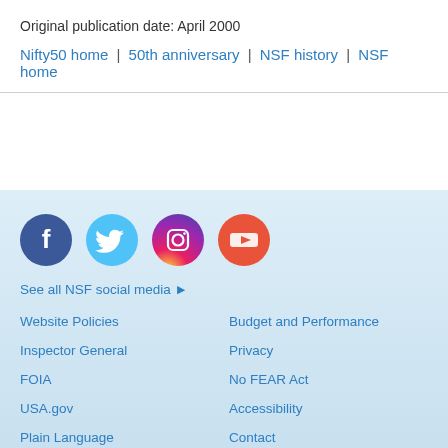Original publication date: April 2000
Nifty50 home | 50th anniversary | NSF history | NSF home
[Figure (illustration): Row of four social media icons: Facebook (dark blue circle), Twitter (light blue circle), Instagram (gradient pink/orange circle), YouTube (orange/red circle)]
See all NSF social media ▶
Website Policies
Budget and Performance
Inspector General
Privacy
FOIA
No FEAR Act
USA.gov
Accessibility
Plain Language
Contact
Help
Research.gov